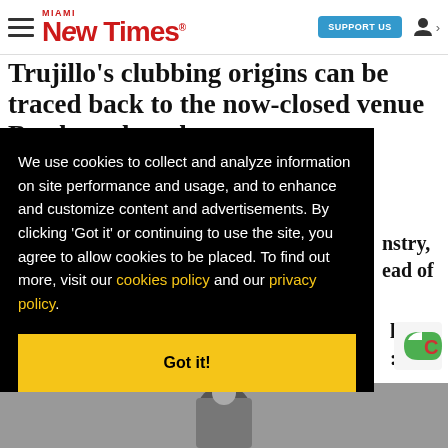Miami New Times | SUPPORT US
Trujillo's clubbing origins can be traced back to the now-closed venue Bardot, where he
industry, ahead of
li III
We use cookies to collect and analyze information on site performance and usage, and to enhance and customize content and advertisements. By clicking 'Got it' or continuing to use the site, you agree to allow cookies to be placed. To find out more, visit our cookies policy and our privacy policy.
Got it!